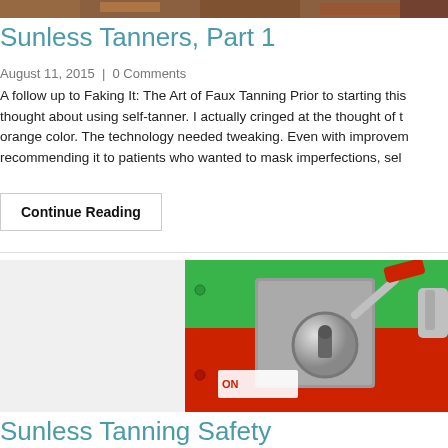[Figure (photo): Top banner photo of autumn foliage]
Sunless Tanners, Part 1
August 11, 2015 | 0 Comments
A follow up to Faking It: The Art of Faux Tanning Prior to starting this thought about using self-tanner. I actually cringed at the thought of t orange color. The technology needed tweaking. Even with improvem recommending it to patients who wanted to mask imperfections, sel
Continue Reading
[Figure (photo): Toggle switch with green and red panels, robotic hand, key lock mechanism]
Sunless Tanning Safety